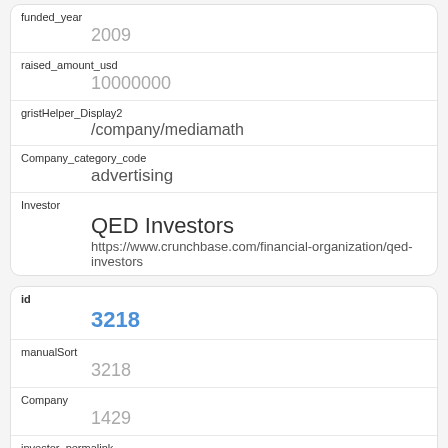| funded_year | 2009 |
| raised_amount_usd | 10000000 |
| gristHelper_Display2 | /company/mediamath |
| Company_category_code | advertising |
| Investor | QED Investors
https://www.crunchbase.com/financial-organization/qed-investors |
| id | 3218 |
| manualSort | 3218 |
| Company | 1429 |
| investor_permalink |  |